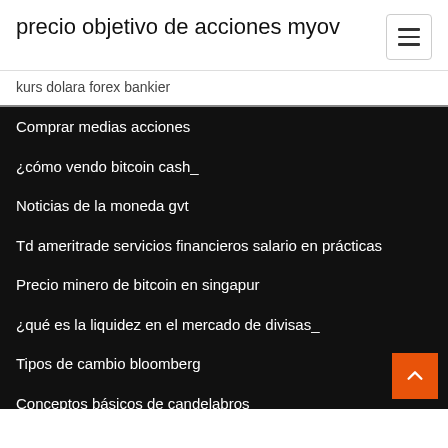precio objetivo de acciones myov
kurs dolara forex bankier
Comprar medias acciones
¿cómo vendo bitcoin cash_
Noticias de la moneda gvt
Td ameritrade servicios financieros salario en prácticas
Precio minero de bitcoin en singapur
¿qué es la liquidez en el mercado de divisas_
Tipos de cambio bloomberg
Conceptos básicos de candelabros
Presidente del sistema de comercio de divisas de china
Las empresas inviertan en durante una recesión